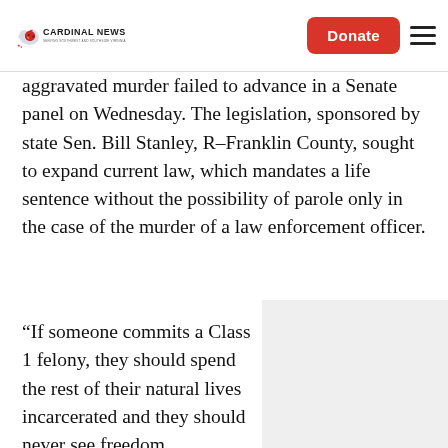Cardinal News | Donate
aggravated murder failed to advance in a Senate panel on Wednesday. The legislation, sponsored by state Sen. Bill Stanley, R-Franklin County, sought to expand current law, which mandates a life sentence without the possibility of parole only in the case of the murder of a law enforcement officer.
“If someone commits a Class 1 felony, they should spend the rest of their natural lives incarcerated and they should never see freedom...